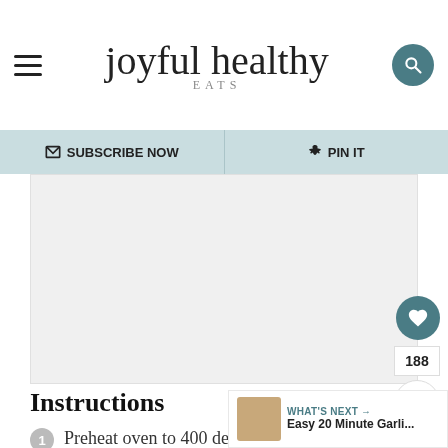joyful healthy EATS
SUBSCRIBE NOW | PIN IT
[Figure (other): Advertisement placeholder area]
Instructions
Preheat oven to 400 degrees.
Add diced red potatoes, red pepper, yellow pepper, and
WHAT'S NEXT → Easy 20 Minute Garli...